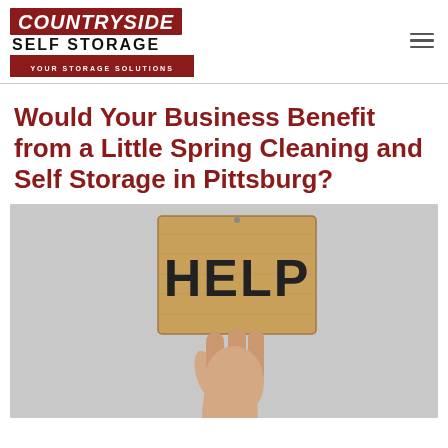COUNTRYSIDE SELF STORAGE — YOUR STORAGE SOLUTIONS
Would Your Business Benefit from a Little Spring Cleaning and Self Storage in Pittsburg?
[Figure (photo): A hand holding up a cardboard sign with the word HELP written in large black marker letters, against a light grey background.]